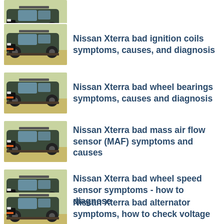[Figure (photo): Partial view of Nissan Xterra SUV cropped at top of page]
Nissan Xterra bad ignition coils symptoms, causes, and diagnosis
Nissan Xterra bad wheel bearings symptoms, causes and diagnosis
Nissan Xterra bad mass air flow sensor (MAF) symptoms and causes
Nissan Xterra bad wheel speed sensor symptoms - how to diagnose
Nissan Xterra bad alternator symptoms, how to check voltage